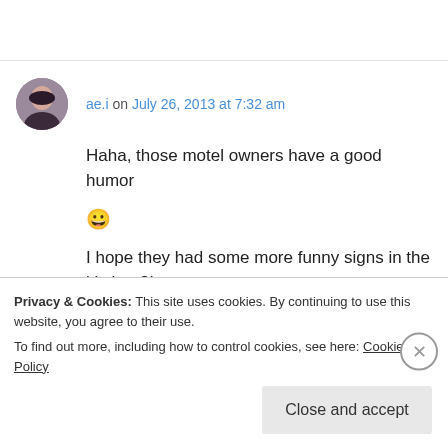ae.i on July 26, 2013 at 7:32 am
Haha, those motel owners have a good humor 😀

I hope they had some more funny signs in the kitchen?!
↳ Reply
BeWithUs on July 26, 2013 at 8:25 am
Privacy & Cookies: This site uses cookies. By continuing to use this website, you agree to their use.
To find out more, including how to control cookies, see here: Cookie Policy
Close and accept